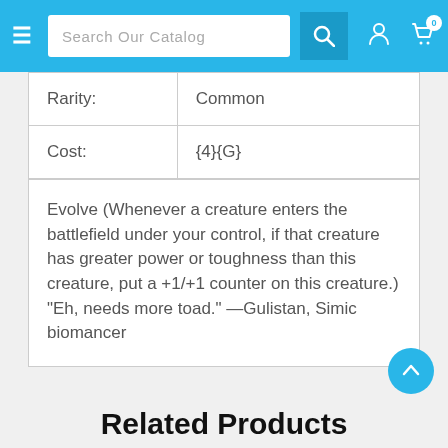Search Our Catalog
| Rarity: | Common |
| Cost: | {4}{G} |
Evolve (Whenever a creature enters the battlefield under your control, if that creature has greater power or toughness than this creature, put a +1/+1 counter on this creature.) "Eh, needs more toad." —Gulistan, Simic biomancer
Related Products
[Figure (photo): Product image strip at bottom of page]